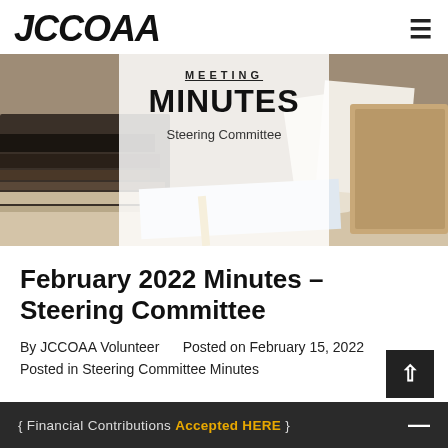JCCOAA
[Figure (photo): Hero image showing books and papers on a desk with a semi-transparent white overlay containing 'MEETING MINUTES' and 'Steering Committee' text]
February 2022 Minutes – Steering Committee
By JCCOAA Volunteer     Posted on February 15, 2022
Posted in Steering Committee Minutes
{ Financial Contributions Accepted HERE }